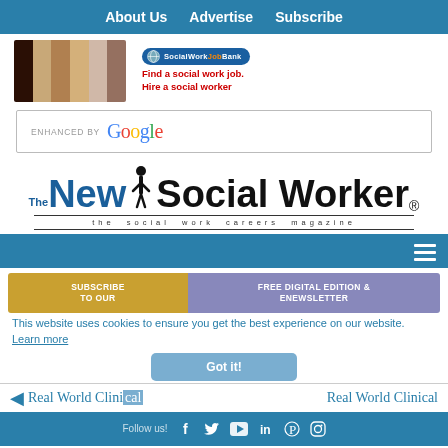About Us   Advertise   Subscribe
[Figure (photo): Strip of six diverse professional headshot photos]
[Figure (logo): SocialWorkJobBank logo with globe icon and red text: Find a social work job. Hire a social worker]
[Figure (other): Google search bar with text ENHANCED BY Google]
[Figure (logo): The New Social Worker magazine logo with tagline: the social work careers magazine]
[Figure (infographic): Subscribe banner with two sections: SUBSCRIBE TO OUR (yellow) and FREE DIGITAL EDITION & ENEWSLETTER (purple)]
This website uses cookies to ensure you get the best experience on our website.  Learn more
Got it!
◄  Real World Clinical     Real World Clinical
Follow us!  f  twitter  youtube  in  pinterest  instagram